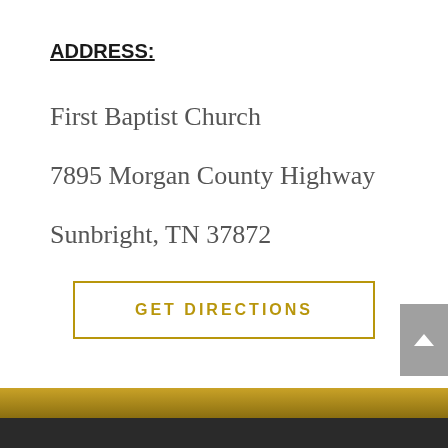ADDRESS:
First Baptist Church
7895 Morgan County Highway
Sunbright, TN 37872
GET DIRECTIONS